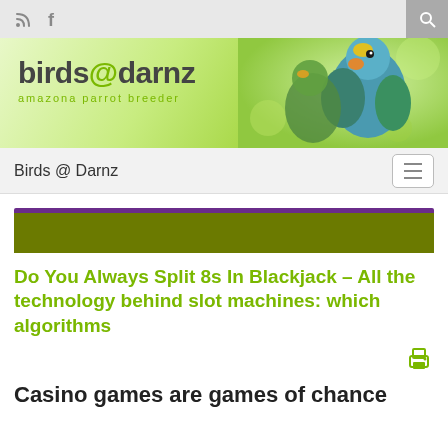RSS feed  Facebook  [search icon]
[Figure (illustration): birds@darnz amazona parrot breeder banner with two colorful parrots on a green bokeh background]
Birds @ Darnz [hamburger menu]
[Figure (other): Purple and olive/dark yellow-green horizontal color bar decorative element]
Do You Always Split 8s In Blackjack – All the technology behind slot machines: which algorithms
[Figure (other): Print icon (printer symbol) in olive green]
Casino games are games of chance